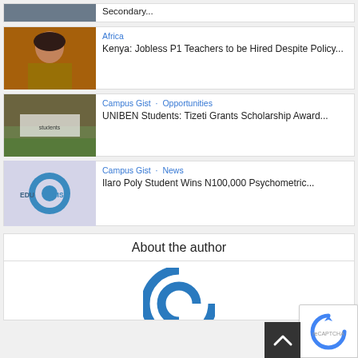[Figure (photo): Partial top card with photo - Secondary...]
Secondary...
[Figure (photo): Woman in yellow and black outfit seated]
Africa
Kenya: Jobless P1 Teachers to be Hired Despite Policy...
[Figure (photo): Group of students standing outside a building]
Campus Gist · Opportunities
UNIBEN Students: Tizeti Grants Scholarship Award...
[Figure (logo): EduGist logo on light purple background]
Campus Gist · News
Ilaro Poly Student Wins N100,000 Psychometric...
About the author
[Figure (logo): Blue circular logo/icon for author]